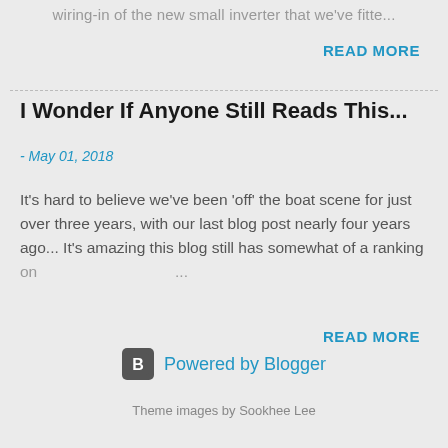wiring-in of the new small inverter that we've fitte...
READ MORE
I Wonder If Anyone Still Reads This...
- May 01, 2018
It's hard to believe we've been 'off' the boat scene for just over three years, with our last blog post nearly four years ago... It's amazing this blog still has somewhat of a ranking on ...
READ MORE
[Figure (logo): Blogger B logo icon in dark square with rounded corners, followed by 'Powered by Blogger' text in blue]
Theme images by Sookhee Lee